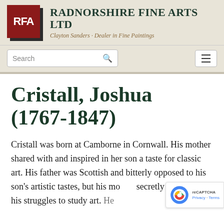Radnorshire Fine Arts Ltd - Clayton Sanders · Dealer in Fine Paintings
Cristall, Joshua (1767-1847)
Cristall was born at Camborne in Cornwall. His mother shared with and inspired in her son a taste for classic art. His father was Scottish and bitterly opposed to his son's artistic tastes, but his mother secretly aided him in his struggles to study art. He